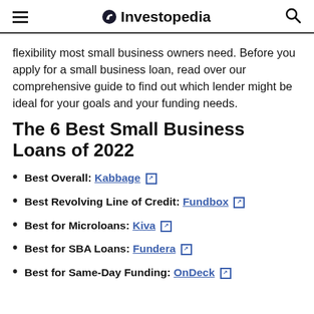Investopedia
flexibility most small business owners need. Before you apply for a small business loan, read over our comprehensive guide to find out which lender might be ideal for your goals and your funding needs.
The 6 Best Small Business Loans of 2022
Best Overall: Kabbage
Best Revolving Line of Credit: Fundbox
Best for Microloans: Kiva
Best for SBA Loans: Fundera
Best for Same-Day Funding: OnDeck